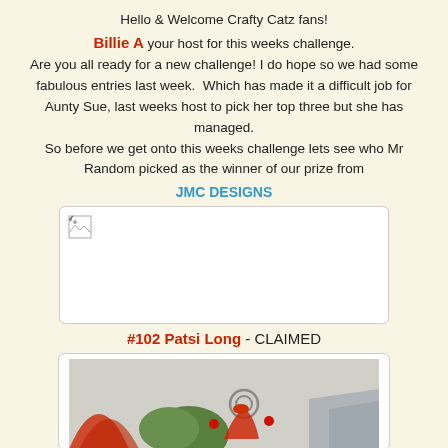Hello & Welcome Crafty Catz fans! Billie A your host for this weeks challenge. Are you all ready for a new challenge! I do hope so we had some fabulous entries last week.  Which has made it a difficult job for Aunty Sue, last weeks host to pick her top three but she has managed. So before we get onto this weeks challenge lets see who Mr Random picked as the winner of our prize from
JMC DESIGNS
[Figure (photo): Broken/missing image placeholder in a white rounded box]
#102 Patsi Long - CLAIMED
[Figure (photo): Craft image showing decorative items with snail and red/grey shapes]